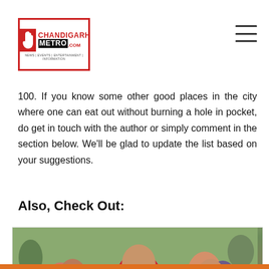Chandigarh Metro .com — NEWS | EVENTS | ENTERTAINMENT | INFORMATION
There are several good and pocket friendly places to visit and eat in Chandigarh. We have listed the top places where you can enjoy a good meal with just Rs. 100. If you know some other good places in the city where one can eat out without burning a hole in pocket, do get in touch with the author or simply comment in the section below. We'll be glad to update the list based on your suggestions.
Also, Check Out:
[Figure (photo): People eating street food outdoors, a woman in red dress eating from a plate, surrounded by others at a food stall]